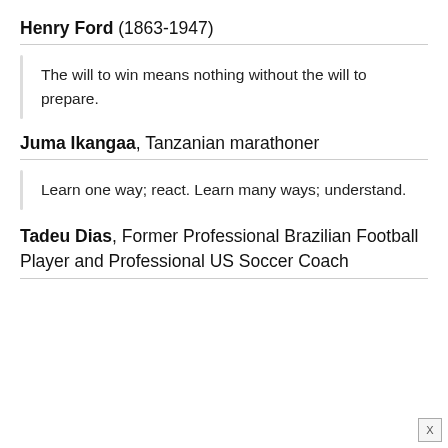Henry Ford (1863-1947)
The will to win means nothing without the will to prepare.
Juma Ikangaa, Tanzanian marathoner
Learn one way; react. Learn many ways; understand.
Tadeu Dias, Former Professional Brazilian Football Player and Professional US Soccer Coach